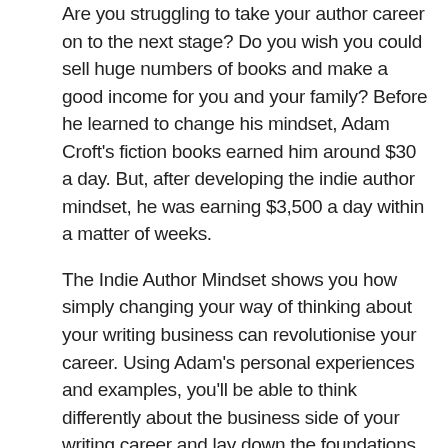Are you struggling to take your author career on to the next stage? Do you wish you could sell huge numbers of books and make a good income for you and your family? Before he learned to change his mindset, Adam Croft's fiction books earned him around $30 a day. But, after developing the indie author mindset, he was earning $3,500 a day within a matter of weeks.
The Indie Author Mindset shows you how simply changing your way of thinking about your writing business can revolutionise your career. Using Adam's personal experiences and examples, you'll be able to think differently about the business side of your writing career and lay down the foundations for long-term success.
In The Indie Author Mindset, you'll discover:
How to decide who to listen to — and who not to listen